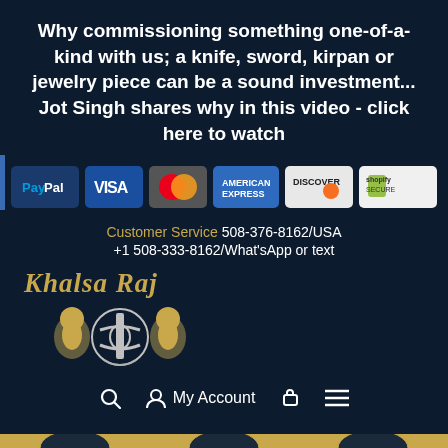Why commissioning something one-of-a-kind with us; a knife, sword, kirpan or jewelry piece can be a sound investment... Jot Singh shares why in this video - click here to watch
[Figure (infographic): Row of payment method icons: PayPal, Visa, Mastercard, American Express, Discover, Shopify Secure]
Customer Service 508-376-8162/USA +1 508-333-8162/What'sApp or text
[Figure (logo): Khalsa Raj brand logo with golden lion emblem and ornate Sikh khanda symbol]
Search  My Account  Cart  Menu
Khalsa Raj - bottom gold bar with partial circular icons